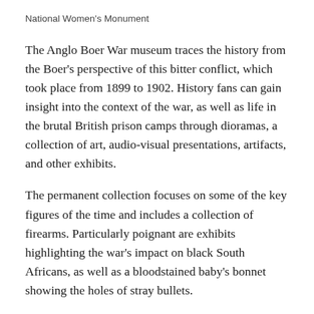National Women's Monument
The Anglo Boer War museum traces the history from the Boer's perspective of this bitter conflict, which took place from 1899 to 1902. History fans can gain insight into the context of the war, as well as life in the brutal British prison camps through dioramas, a collection of art, audio-visual presentations, artifacts, and other exhibits.
The permanent collection focuses on some of the key figures of the time and includes a collection of firearms. Particularly poignant are exhibits highlighting the war's impact on black South Africans, as well as a bloodstained baby's bonnet showing the holes of stray bullets.